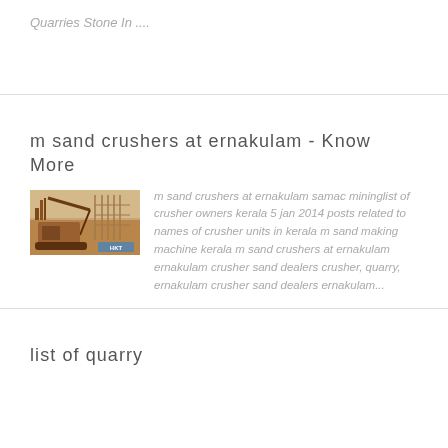Quarries Stone In ....
m sand crushers at ernakulam - Know More
[Figure (photo): Construction/mining machinery - rusty crusher or excavator equipment at a quarry site with a blue watermark label]
m sand crushers at ernakulam samac mininglist of crusher owners kerala 5 jan 2014 posts related to names of crusher units in kerala m sand making machine kerala m sand crushers at ernakulam ernakulam crusher sand dealers crusher, quarry, ernakulam crusher sand dealers ernakulam...
list of quarry